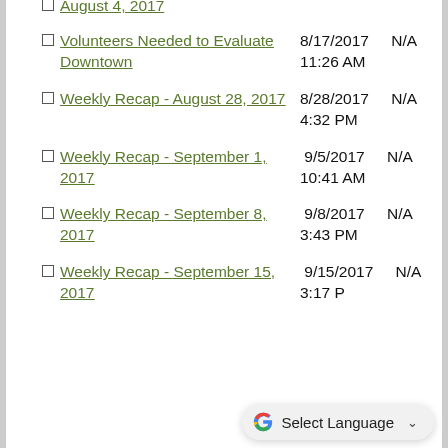August 4, 2017  (partial, cut off at top)
Volunteers Needed to Evaluate Downtown	8/17/2017 11:26 AM	N/A
Weekly Recap - August 28, 2017	8/28/2017 4:32 PM	N/A
Weekly Recap - September 1, 2017	9/5/2017 10:41 AM	N/A
Weekly Recap - September 8, 2017	9/8/2017 3:43 PM	N/A
Weekly Recap - September 15, 2017	9/15/2017 3:17 PM	N/A (partial)